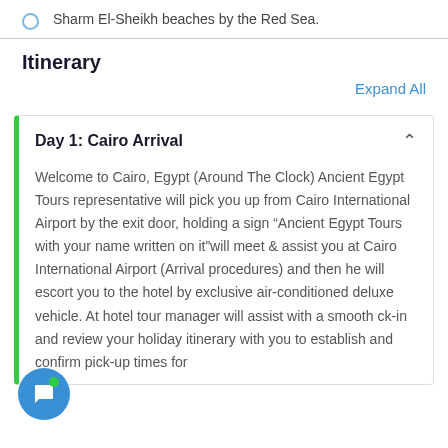Sharm El-Sheikh beaches by the Red Sea.
Itinerary
Expand All
Day 1: Cairo Arrival
Welcome to Cairo, Egypt (Around The Clock) Ancient Egypt Tours representative will pick you up from Cairo International Airport by the exit door, holding a sign "Ancient Egypt Tours with your name written on it"will meet & assist you at Cairo International Airport (Arrival procedures) and then he will escort you to the hotel by exclusive air-conditioned deluxe vehicle. At hotel tour manager will assist with a smooth ck-in and review your holiday itinerary with you to establish and confirm pick-up times for